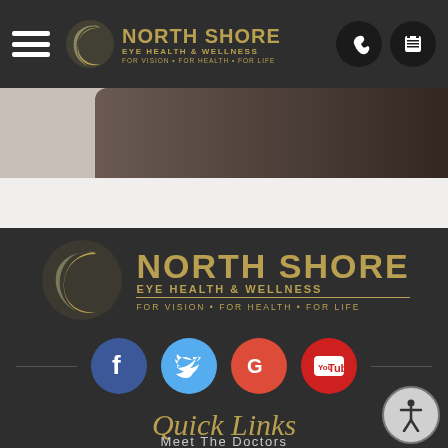[Figure (logo): North Shore Eye Health & Wellness navigation bar with hamburger menu, logo, phone and calendar icons]
[Figure (photo): Partial hero image showing dark toned photograph, possibly person with eyewear]
[Figure (logo): North Shore Eye Health & Wellness large footer logo with crescent icon]
[Figure (infographic): Social media icons row: Facebook (blue), Twitter (light blue), Google+ (red), YouTube (red)]
Quick Links
Meet The Doctors